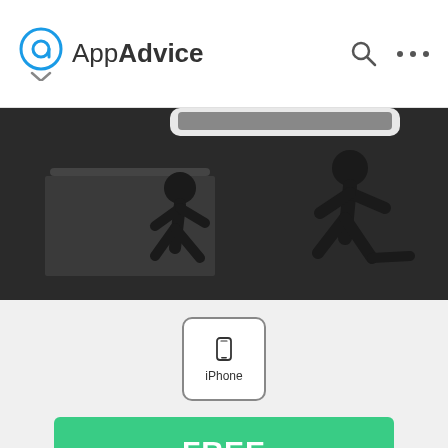AppAdvice
[Figure (screenshot): Dark gym/fitness themed banner image showing exercise equipment silhouettes, with a white smartphone frame visible at top]
[Figure (other): iPhone device badge icon with rounded rectangle border showing a small phone icon and 'iPhone' text label]
FREE
in the App Store
[Figure (other): Social sharing icons row: Twitter bird, Facebook f, Pinterest P, Google+, Reddit alien, Tumblr t]